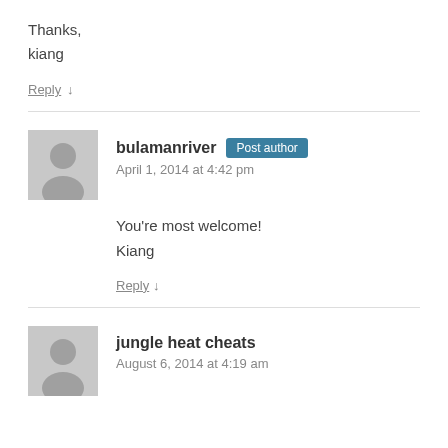Thanks,
kiang
Reply ↓
bulamanriver Post author
April 1, 2014 at 4:42 pm
You're most welcome!
Kiang
Reply ↓
jungle heat cheats
August 6, 2014 at 4:19 am